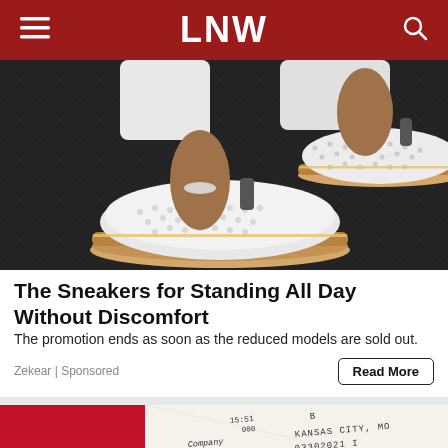LNW
[Figure (photo): Close-up photo of a person's feet wearing white perforated slip-on sneakers with tan/brown rope-style soles, on a dark pavement.]
The Sneakers for Standing All Day Without Discomfort
The promotion ends as soon as the reduced models are sold out.
Zekear | Sponsored
[Figure (photo): Partial photo of a bank check with red background on the left, showing printed text 'Company', numbers 15:51 000, and 'KANSAS CITY, MO 03302021 I' visible.]